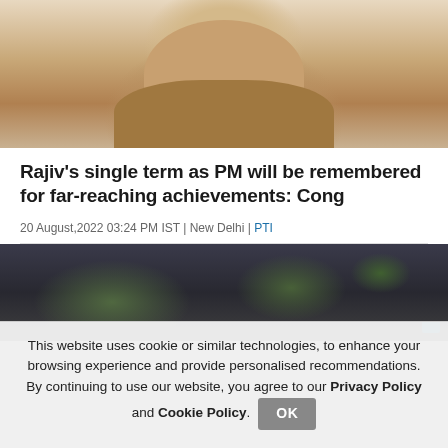[Figure (photo): Portrait photo of a man wearing a brown jacket/shawl, cropped at chest level, neutral background]
Rajiv's single term as PM will be remembered for far-reaching achievements: Cong
20 August,2022 03:24 PM IST | New Delhi | PTI
[Figure (photo): Outdoor scene with trees and rain/overcast weather, dark tones]
This website uses cookie or similar technologies, to enhance your browsing experience and provide personalised recommendations. By continuing to use our website, you agree to our Privacy Policy and Cookie Policy.